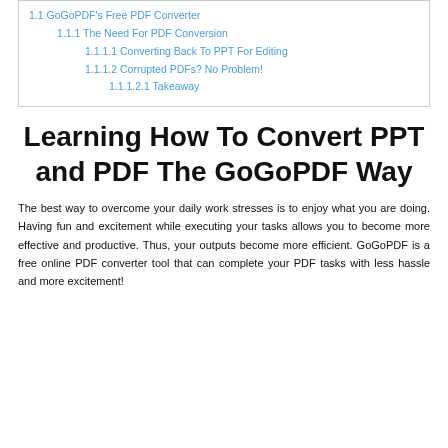1.1 GoGoPDF's Free PDF Converter
1.1.1 The Need For PDF Conversion
1.1.1.1 Converting Back To PPT For Editing
1.1.1.2 Corrupted PDFs? No Problem!
1.1.1.2.1 Takeaway
Learning How To Convert PPT and PDF The GoGoPDF Way
The best way to overcome your daily work stresses is to enjoy what you are doing. Having fun and excitement while executing your tasks allows you to become more effective and productive. Thus, your outputs become more efficient. GoGoPDF is a free online PDF converter tool that can complete your PDF tasks with less hassle and more excitement!